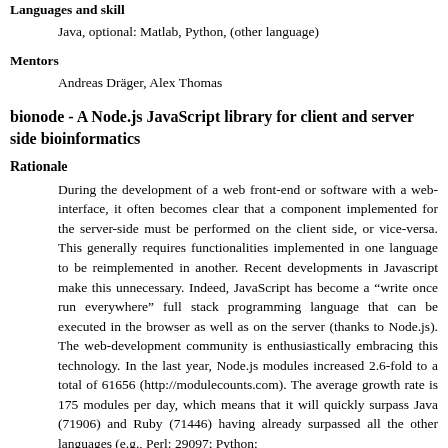Languages and skill
Java, optional: Matlab, Python, (other language)
Mentors
Andreas Dräger, Alex Thomas
bionode - A Node.js JavaScript library for client and server side bioinformatics
Rationale
During the development of a web front-end or software with a web-interface, it often becomes clear that a component implemented for the server-side must be performed on the client side, or vice-versa. This generally requires functionalities implemented in one language to be reimplemented in another. Recent developments in Javascript make this unnecessary. Indeed, JavaScript has become a “write once run everywhere” full stack programming language that can be executed in the browser as well as on the server (thanks to Node.js). The web-development community is enthusiastically embracing this technology. In the last year, Node.js modules increased 2.6-fold to a total of 61656 (http://modulecounts.com). The average growth rate is 175 modules per day, which means that it will quickly surpass Java (71906) and Ruby (71446) having already surpassed all the other languages (e.g., Perl: 29097; Python: